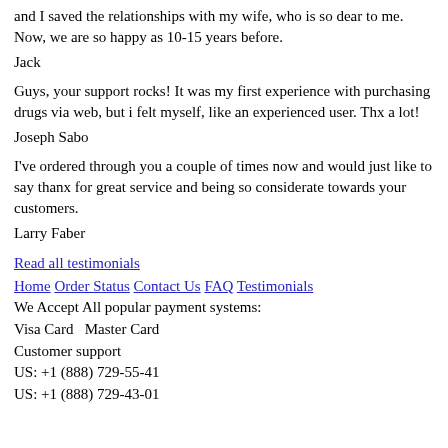and I saved the relationships with my wife, who is so dear to me. Now, we are so happy as 10-15 years before.
Jack
Guys, your support rocks! It was my first experience with purchasing drugs via web, but i felt myself, like an experienced user. Thx a lot!
Joseph Sabo
I've ordered through you a couple of times now and would just like to say thanx for great service and being so considerate towards your customers.
Larry Faber
Read all testimonials
Home Order Status Contact Us FAQ Testimonials
We Accept All popular payment systems:
Visa Card   Master Card
Customer support
US: +1 (888) 729-55-41
US: +1 (888) 729-43-01